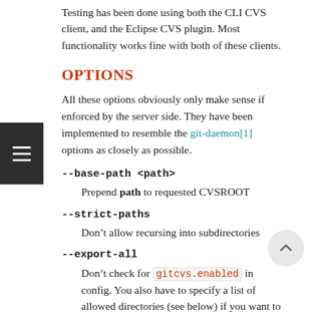Testing has been done using both the CLI CVS client, and the Eclipse CVS plugin. Most functionality works fine with both of these clients.
OPTIONS
All these options obviously only make sense if enforced by the server side. They have been implemented to resemble the git-daemon[1] options as closely as possible.
--base-path <path>
  Prepend path to requested CVSROOT
--strict-paths
  Don’t allow recursing into subdirectories
--export-all
  Don’t check for gitcvs.enabled in config. You also have to specify a list of allowed directories (see below) if you want to use this option.